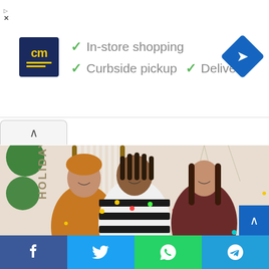[Figure (screenshot): Advertisement banner for a retail store (CM) showing logo, checkmarks for In-store shopping, Curbside pickup, and Delivery, with a navigation diamond icon]
✓ In-store shopping
✓ Curbside pickup  ✓ Delivery
[Figure (photo): Three smiling young people in holiday/casual clothing sitting together, decorated with Christmas lights. Background shows macrame wall hanging and decorative elements. Text 'HOLIDAY' visible on left side.]
[Figure (screenshot): Social media share bar at bottom with Facebook, Twitter, WhatsApp, and Telegram share buttons]